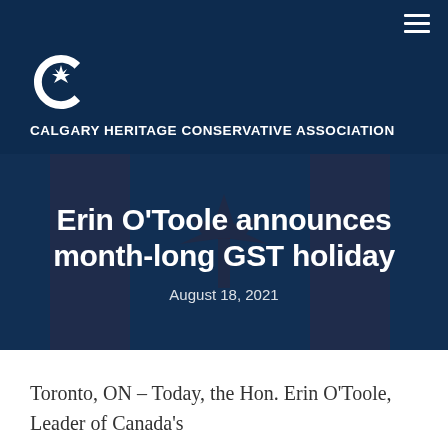[Figure (logo): Calgary Heritage Conservative Association logo — white stylized C with maple leaf]
CALGARY HERITAGE CONSERVATIVE ASSOCIATION
Erin O'Toole announces month-long GST holiday
August 18, 2021
Toronto, ON – Today, the Hon. Erin O'Toole, Leader of Canada's